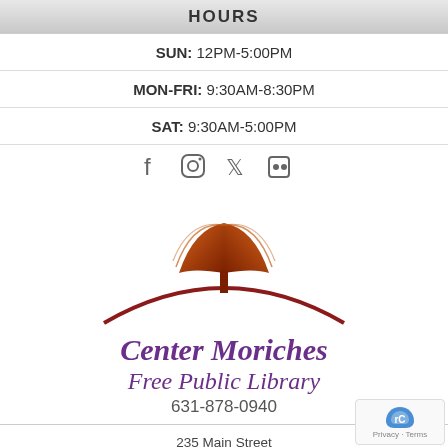HOURS
SUN: 12PM-5:00PM
MON-FRI: 9:30AM-8:30PM
SAT: 9:30AM-5:00PM
[Figure (logo): Social media icons (Facebook, Instagram, Twitter, Flickr) and Center Moriches Free Public Library logo with open book illustration and curved arc, text reading 'Center Moriches Free Public Library 631-878-0940']
235 Main Street
Center Moriches, NY 11934